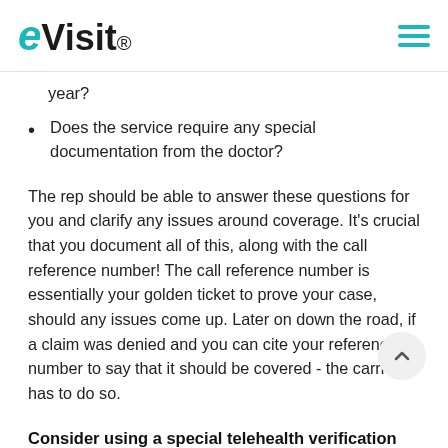eVisit
year?
Does the service require any special documentation from the doctor?
The rep should be able to answer these questions for you and clarify any issues around coverage. It's crucial that you document all of this, along with the call reference number! The call reference number is essentially your golden ticket to prove your case, should any issues come up. Later on down the road, if a claim was denied and you can cite your reference number to say that it should be covered - the carrier has to do so.
Consider using a special telehealth verification form.